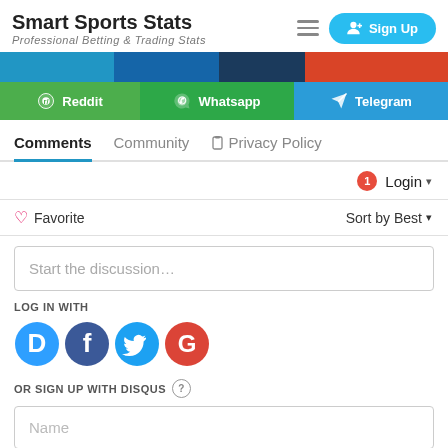Smart Sports Stats — Professional Betting & Trading Stats
[Figure (screenshot): Navigation bar with social share buttons: Reddit, Whatsapp, Telegram]
Comments   Community   Privacy Policy
1  Login ▾
♡ Favorite   Sort by Best ▾
Start the discussion…
LOG IN WITH
[Figure (logo): Social login icons: Disqus (D), Facebook (f), Twitter bird, Google (G)]
OR SIGN UP WITH DISQUS ?
Name